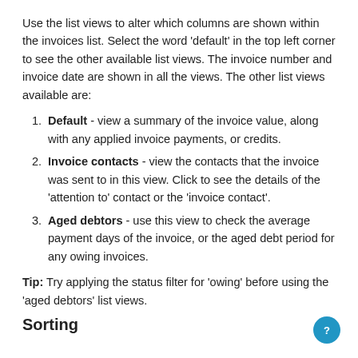Use the list views to alter which columns are shown within the invoices list. Select the word 'default' in the top left corner to see the other available list views. The invoice number and invoice date are shown in all the views. The other list views available are:
Default - view a summary of the invoice value, along with any applied invoice payments, or credits.
Invoice contacts - view the contacts that the invoice was sent to in this view. Click to see the details of the 'attention to' contact or the 'invoice contact'.
Aged debtors - use this view to check the average payment days of the invoice, or the aged debt period for any owing invoices.
Tip: Try applying the status filter for 'owing' before using the 'aged debtors' list views.
Sorting